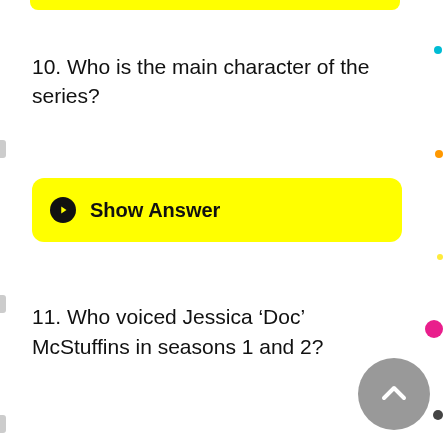10. Who is the main character of the series?
Show Answer
11. Who voiced Jessica ‘Doc’ McStuffins in seasons 1 and 2?